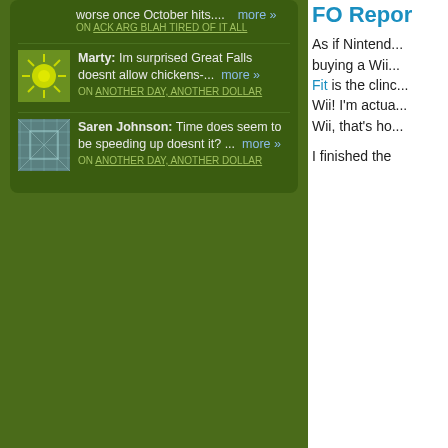worse once October hits.... more » ON ACK ARG BLAH TIRED OF IT ALL
Marty: Im surprised Great Falls doesnt allow chickens-... more » ON ANOTHER DAY, ANOTHER DOLLAR
Saren Johnson: Time does seem to be speeding up doesnt it? ... more » ON ANOTHER DAY, ANOTHER DOLLAR
FO Repor
As if Nintend... buying a Wii... Fit is the clinc... Wii! I'm actua... Wii, that's ho...
I finished the